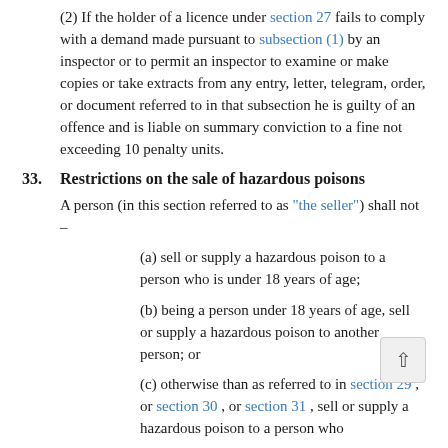(2) If the holder of a licence under section 27 fails to comply with a demand made pursuant to subsection (1) by an inspector or to permit an inspector to examine or make copies or take extracts from any entry, letter, telegram, order, or document referred to in that subsection he is guilty of an offence and is liable on summary conviction to a fine not exceeding 10 penalty units.
33. Restrictions on the sale of hazardous poisons
A person (in this section referred to as "the seller") shall not –
(a) sell or supply a hazardous poison to a person who is under 18 years of age;
(b) being a person under 18 years of age, sell or supply a hazardous poison to another person; or
(c) otherwise than as referred to in section 29 , or section 30 , or section 31 , sell or supply a hazardous poison to a person who